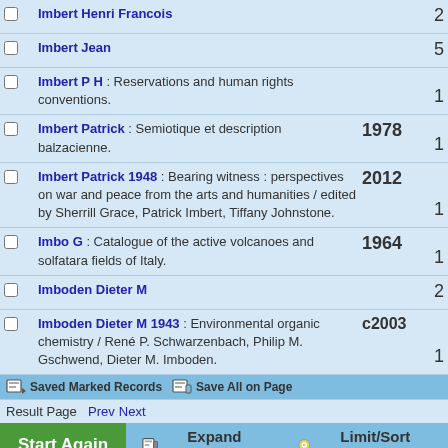Imbert Henri Francois  2
Imbert Jean  5
Imbert P H : Reservations and human rights conventions.  1
Imbert Patrick : Semiotique et description balzacienne.  1978  1
Imbert Patrick 1948 : Bearing witness : perspectives on war and peace from the arts and humanities / edited by Sherrill Grace, Patrick Imbert, Tiffany Johnstone.  2012  1
Imbo G : Catalogue of the active volcanoes and solfatara fields of Italy.  1964  1
Imboden Dieter M  2
Imboden Dieter M 1943 : Environmental organic chemistry / René P. Schwarzenbach, Philip M. Gschwend, Dieter M. Imboden.  c2003  1
Saved Marked Records  Save All on Page
Result Page  Prev  Next
Start Again  Expand Display  Limit/Sort Search